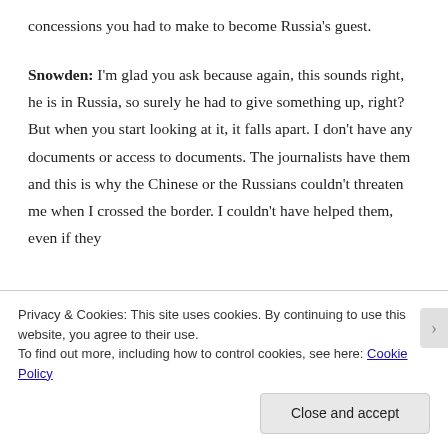concessions you had to make to become Russia's guest.
Snowden: I'm glad you ask because again, this sounds right, he is in Russia, so surely he had to give something up, right? But when you start looking at it, it falls apart. I don't have any documents or access to documents. The journalists have them and this is why the Chinese or the Russians couldn't threaten me when I crossed the border. I couldn't have helped them, even if they
Privacy & Cookies: This site uses cookies. By continuing to use this website, you agree to their use.
To find out more, including how to control cookies, see here: Cookie Policy